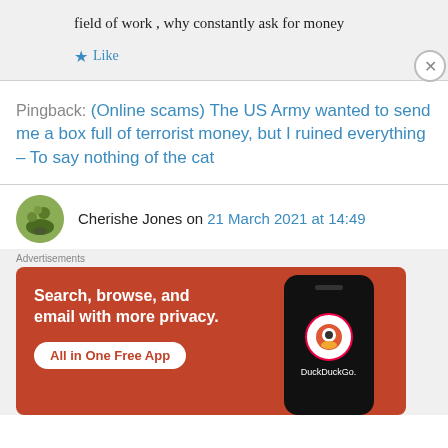field of work , why constantly ask for money
★ Like
Pingback: (Online scams) The US Army wanted to send me a box full of terrorist money, but I ruined everything – To say nothing of the cat
Cherishe Jones on 21 March 2021 at 14:49
[Figure (screenshot): DuckDuckGo advertisement banner: orange background, text 'Search, browse, and email with more privacy. All in One Free App', phone mockup with DuckDuckGo logo]